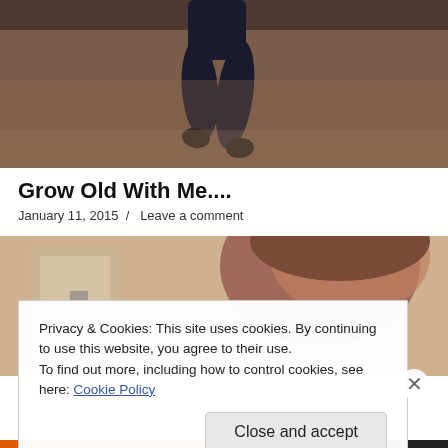[Figure (photo): Person walking on a sandy/gravelly path, seen from behind, wearing dark jeans. Sepia/vintage toned photo.]
Grow Old With Me....
January 11, 2015  /  Leave a comment
[Figure (photo): Close-up photo of a person's face/head, partially visible, reddish-brown hair, indoor setting.]
Privacy & Cookies: This site uses cookies. By continuing to use this website, you agree to their use.
To find out more, including how to control cookies, see here: Cookie Policy
Close and accept